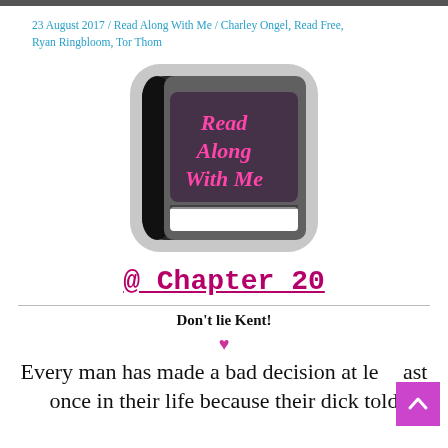23 August 2017 / Read Along With Me / Charley Ongel, Read Free, Ryan Ringbloom, Tor Thom
[Figure (illustration): Book app icon with dark background and pink text reading 'Read Along With Me' in a stylized font, with a white bookmark ribbon at the bottom, rounded square shape]
@ Chapter 20
Don't lie Kent!
Every man has made a bad decision at least once in their life because their dick told